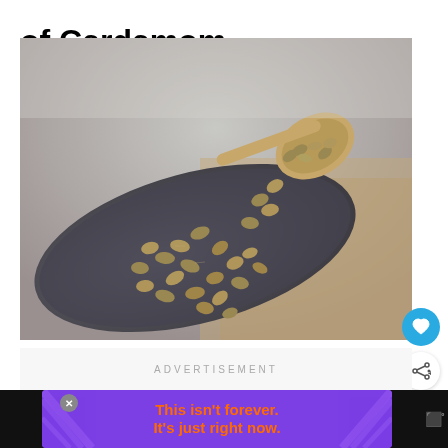of Cardamom
[Figure (photo): Close-up photo of cardamom pods spilling out of a small wooden spoon onto a dark slate surface on a wooden background]
ADVERTISEMENT
[Figure (photo): Purple advertisement banner reading 'This isn't forever. It's just right now.' with orange text and decorative ray design]